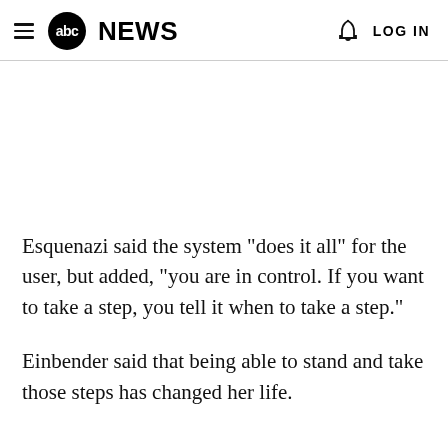abc NEWS  LOG IN
Esquenazi said the system "does it all" for the user, but added, "you are in control. If you want to take a step, you tell it when to take a step."
Einbender said that being able to stand and take those steps has changed her life.